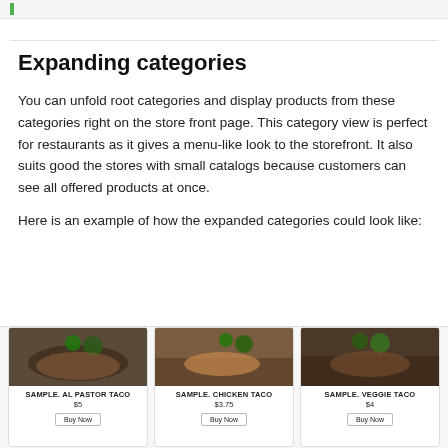Expanding categories
You can unfold root categories and display products from these categories right on the store front page. This category view is perfect for restaurants as it gives a menu-like look to the storefront. It also suits good the stores with small catalogs because customers can see all offered products at once.
Here is an example of how the expanded categories could look like:
[Figure (screenshot): Three product cards showing food items: SAMPLE. Al Pastor Taco $5, SAMPLE. Chicken Taco $3.75, SAMPLE. Veggie Taco $4, each with a Buy Now button]